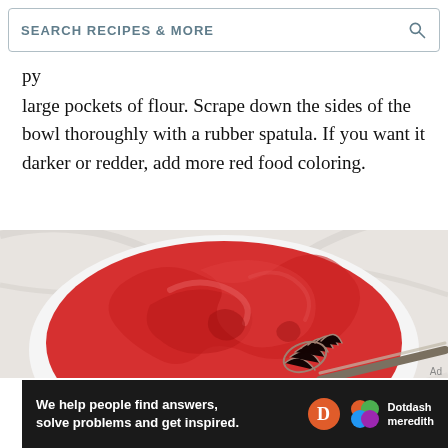SEARCH RECIPES & MORE
py
large pockets of flour. Scrape down the sides of the bowl thoroughly with a rubber spatula. If you want it darker or redder, add more red food coloring.
[Figure (photo): Overhead view of a white bowl containing thick red velvet cake batter being mixed with a metal whisk, on a marble surface.]
We help people find answers, solve problems and get inspired. Dotdash meredith